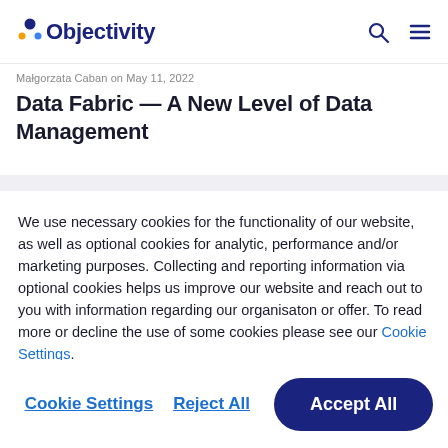Objectivity
Małgorzata Caban on May 11, 2022
Data Fabric — A New Level of Data Management
We use necessary cookies for the functionality of our website, as well as optional cookies for analytic, performance and/or marketing purposes. Collecting and reporting information via optional cookies helps us improve our website and reach out to you with information regarding our organisaton or offer. To read more or decline the use of some cookies please see our Cookie Settings.
Cookie Settings  Reject All  Accept All